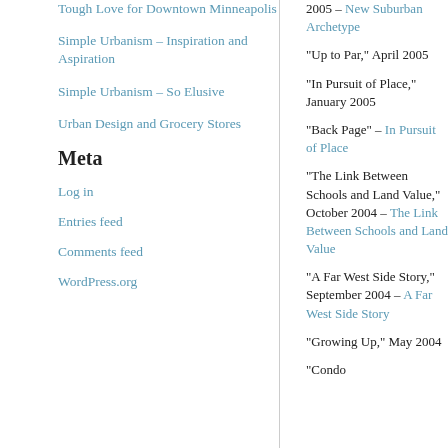Tough Love for Downtown Minneapolis
Simple Urbanism – Inspiration and Aspiration
Simple Urbanism – So Elusive
Urban Design and Grocery Stores
Meta
Log in
Entries feed
Comments feed
WordPress.org
2005 – New Suburban Archetype
"Up to Par," April 2005
"In Pursuit of Place," January 2005
"Back Page" – In Pursuit of Place
"The Link Between Schools and Land Value," October 2004 – The Link Between Schools and Land Value
"A Far West Side Story," September 2004 – A Far West Side Story
"Growing Up," May 2004
"Condo